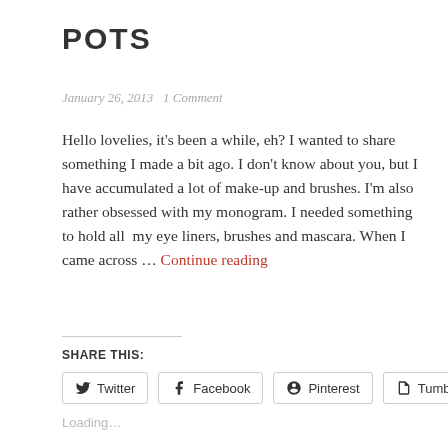POTS
January 26, 2013   1 Comment
Hello lovelies, it's been a while, eh? I wanted to share something I made a bit ago. I don't know about you, but I have accumulated a lot of make-up and brushes. I'm also rather obsessed with my monogram. I needed something to hold all  my eye liners, brushes and mascara. When I came across … Continue reading
SHARE THIS:
Twitter   Facebook   Pinterest   Tumblr
Loading…